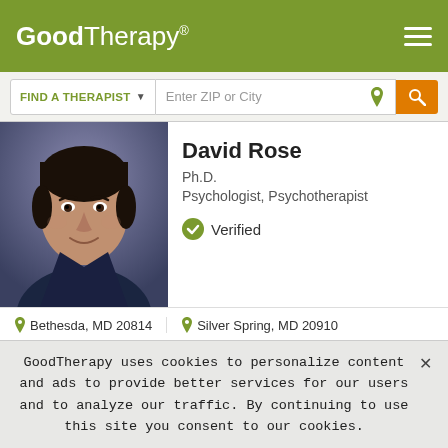GoodTherapy®
FIND A THERAPIST  Enter ZIP or City
[Figure (photo): Headshot photo of David Rose, a middle-aged man with dark hair, smiling, wearing a dark shirt, photographed against a blue-purple background]
David Rose
Ph.D.
Psychologist, Psychotherapist
✔ Verified
📍 Bethesda, MD 20814   📍 Silver Spring, MD 20910
In my practice, I work with adults, defined as approximately age 20 and older. I work with individual clients, with couples, and with groups. In group therapy, the clients are almost always in individual
GoodTherapy uses cookies to personalize content and ads to provide better services for our users and to analyze our traffic. By continuing to use this site you consent to our cookies.